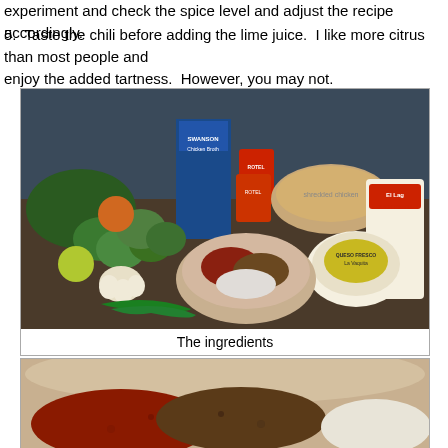experiment and check the spice level and adjust the recipe accordingly.
5.  Taste the chili before adding the lime juice.  I like more citrus than most people and enjoy the added tartness.  However, you may not.
[Figure (photo): Photo of chili ingredients on a counter top including green vegetables, tomatillos, garlic, lime, jalapeños, canned goods (Rotel), Swanson Chicken Broth carton, shredded chicken in a bowl, El Lago corn tortillas, queso fresco (La Vaquita), and a bowl of spices.]
The ingredients
[Figure (photo): Close-up photo of a bowl containing various spices including red chili powder, brown cumin/spice mix, and white salt or other white spice.]